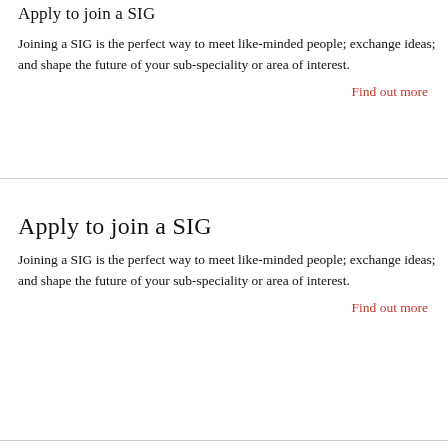Apply to join a SIG
Joining a SIG is the perfect way to meet like-minded people; exchange ideas; and shape the future of your sub-speciality or area of interest.
Find out more
Apply to join a SIG
Joining a SIG is the perfect way to meet like-minded people; exchange ideas; and shape the future of your sub-speciality or area of interest.
Find out more